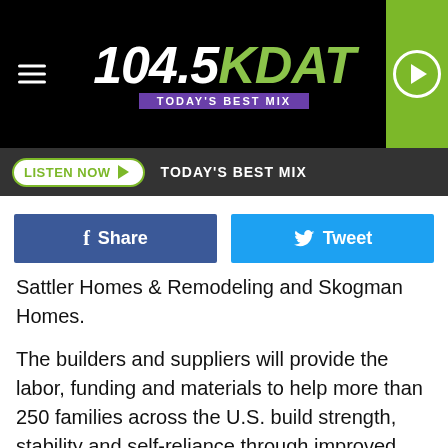[Figure (logo): 104.5 KDAT radio station logo with Today's Best Mix tagline, hamburger menu icon on left, green play button on right]
[Figure (screenshot): Listen Now button and TODAY'S BEST MIX text on dark bar]
[Figure (screenshot): Facebook Share button and Twitter Tweet button]
Sattler Homes & Remodeling and Skogman Homes.
The builders and suppliers will provide the labor, funding and materials to help more than 250 families across the U.S. build strength, stability and self-reliance through improved shelter.
In Cedar Rapids, Cedar Valley Habitat and professional homebuilders will help three area families build, improve or repair a place they can call home. Local, professional